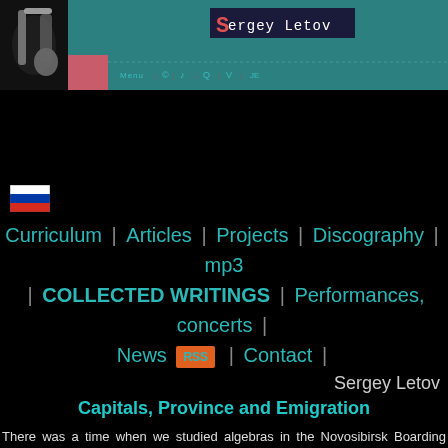[Figure (screenshot): Website header banner with saxophone photo on left, teal/green background, pink block, site title 'Sergey Letov' in monospace font with red S letter, navigation dots and links below]
[Figure (illustration): Russian flag icon (tricolor: white, blue, red horizontal stripes)]
Curriculum | Articles | Projects | Discography | mp3 | COLLECTED WRITINGS | Performances, concerts | News RSS | Contact |
Sergey Letov
Capitals, Province and Emigration
There was a time when we studied algebras in the Novosibirsk Boarding School of Mathematics and Physics. I remember learning the attributes of transitivity, reflexivity, symmetry… The teacher gave a funny example to explain the anti-symmetry in plain terms: A->B does not mean that B->A, and if you replace ">" with...